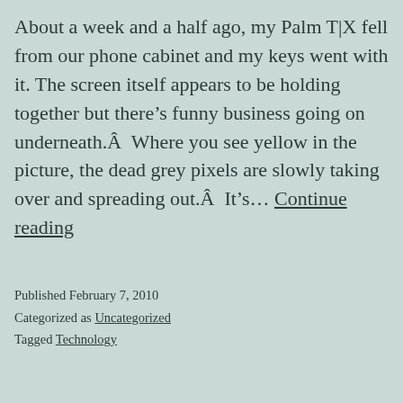About a week and a half ago, my Palm T|X fell from our phone cabinet and my keys went with it. The screen itself appears to be holding together but there's funny business going on underneath.Â  Where you see yellow in the picture, the dead grey pixels are slowly taking over and spreading out.Â  It's... Continue reading
Published February 7, 2010
Categorized as Uncategorized
Tagged Technology